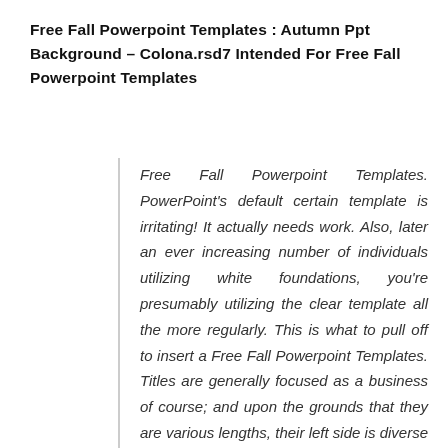Free Fall Powerpoint Templates : Autumn Ppt Background – Colona.rsd7 Intended For Free Fall Powerpoint Templates
Free Fall Powerpoint Templates. PowerPoint's default certain template is irritating! It actually needs work. Also, later an ever increasing number of individuals utilizing white foundations, you're presumably utilizing the clear template all the more regularly. This is what to pull off to insert a Free Fall Powerpoint Templates. Titles are generally focused as a business of course; and upon the grounds that they are various lengths, their left side is diverse for each slide. It's smarter to left-legitimize the titles and they'll